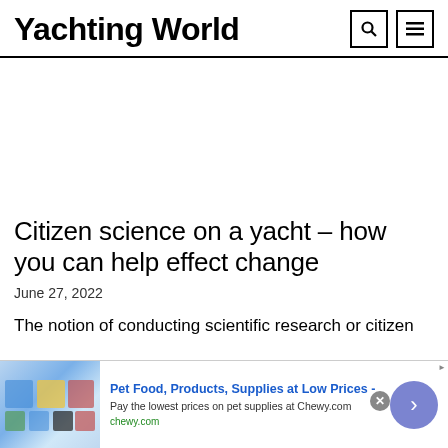Yachting World
Citizen science on a yacht – how you can help effect change
June 27, 2022
The notion of conducting scientific research or citizen
[Figure (infographic): Advertisement banner for Chewy.com: Pet Food, Products, Supplies at Low Prices. Pay the lowest prices on pet supplies at Chewy.com. chewy.com]